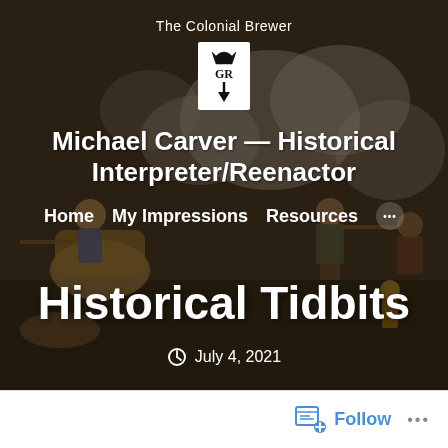[Figure (illustration): Background colonial-era battle scene illustration with dark overlay, showing figures with muskets and smoke clouds]
The Colonial Brewer
[Figure (logo): White rectangular logo box with GR crown symbol and downward arrow]
Michael Carver — Historical Interpreter/Reenactor
Home   My Impressions   Resources   •••
Historical Tidbits
July 4, 2021
Follow   •••